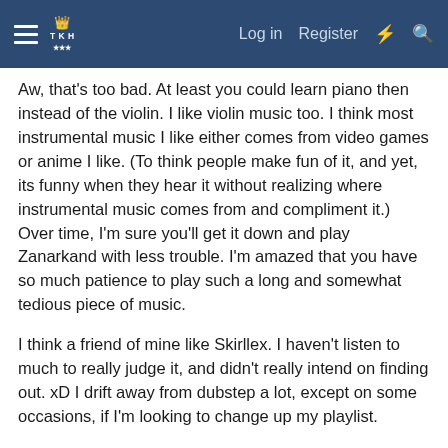Log in  Register
Aw, that's too bad. At least you could learn piano then instead of the violin. I like violin music too. I think most instrumental music I like either comes from video games or anime I like. (To think people make fun of it, and yet, its funny when they hear it without realizing where instrumental music comes from and compliment it.) Over time, I'm sure you'll get it down and play Zanarkand with less trouble. I'm amazed that you have so much patience to play such a long and somewhat tedious piece of music.
I think a friend of mine like Skirllex. I haven't listen to much to really judge it, and didn't really intend on finding out. xD I drift away from dubstep a lot, except on some occasions, if I'm looking to change up my playlist.
Oh no, I understood what you were saying! I imagine being a detective is being similar to a cop, since not all criminals corporate, and try to make a run for it. So being in shape would be a good advantage to have for such a field of work.